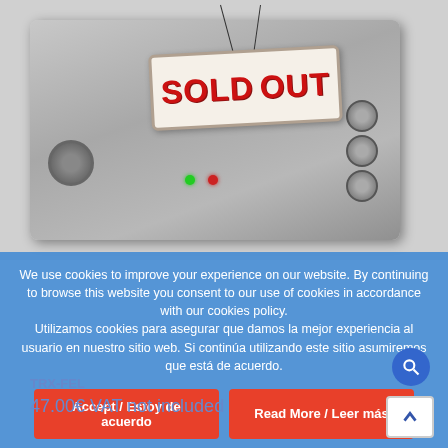[Figure (photo): Electronic device (small metal box/transceiver) with connectors, LEDs, and a 'SOLD OUT' hanging sign overlay. The device appears to be a TRX-FEL radio or signal device.]
We use cookies to improve your experience on our website. By continuing to browse this website you consent to our use of cookies in accordance with our cookies policy.
Utilizamos cookies para asegurar que damos la mejor experiencia al usuario en nuestro sitio web. Si continúa utilizando este sitio asumiremos que está de acuerdo.
Accept / Estoy de acuerdo
Read More / Leer más
TRX-FEL
47.00€ VAT not included